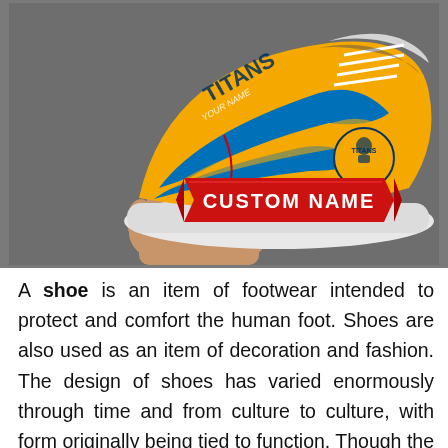[Figure (photo): A hand holding a gold, blue and white athletic/sneaker shoe with 'Titans' branding and a red tag labeled 'CUSTOM NAME' attached via a red string to the shoe tongue.]
A shoe is an item of footwear intended to protect and comfort the human foot. Shoes are also used as an item of decoration and fashion. The design of shoes has varied enormously through time and from culture to culture, with form originally being tied to function. Though the human foot can adapt to varied terrains and